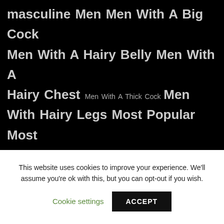masculine Men Men With A Big Cock Men With A Hairy Belly Men With A Hairy Chest Men With A Thick Cock Men With Hairy Legs Most Popular Most Viewed Muscle Bears Older Men With Younger Men Oral Sex Regular Guys Sex Pigs Silver Daddies Stocky Guys Stocky Guys In Gay Porn Uncut Men Video
This website uses cookies to improve your experience. We'll assume you're ok with this, but you can opt-out if you wish.
Cookie settings  ACCEPT